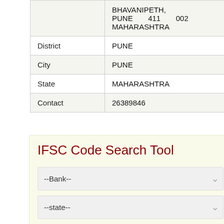|  |  |
| --- | --- |
|  | BHAVANIPETH, PUNE 411 002 MAHARASHTRA |
| District | PUNE |
| City | PUNE |
| State | MAHARASHTRA |
| Contact | 26389846 |
IFSC Code Search Tool
--Bank--
--state--
District